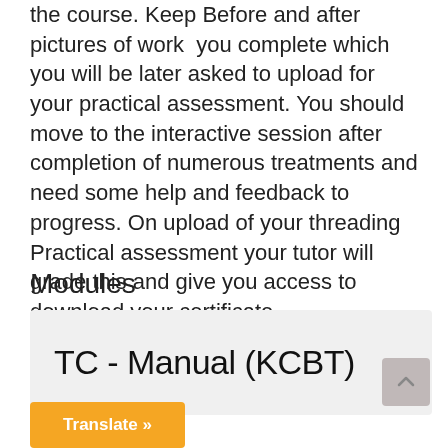the course. Keep Before and after pictures of work  you complete which you will be later asked to upload for your practical assessment. You should move to the interactive session after completion of numerous treatments and need some help and feedback to progress. On upload of your threading Practical assessment your tutor will grade this and give you access to download your certificate.
Modules
TC - Manual (KCBT)
Translate »